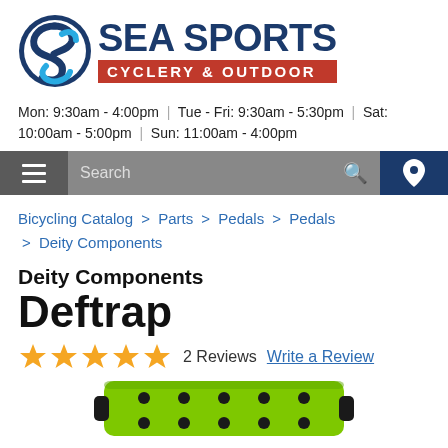[Figure (logo): Sea Sports Cyclery & Outdoor logo with circular S emblem and red banner]
Mon: 9:30am - 4:00pm | Tue - Fri: 9:30am - 5:30pm | Sat: 10:00am - 5:00pm | Sun: 11:00am - 4:00pm
[Figure (screenshot): Navigation bar with hamburger menu, search field, and location icon]
Bicycling Catalog > Parts > Pedals > Pedals > Deity Components
Deity Components Deftrap
2 Reviews   Write a Review
[Figure (photo): Partial product image of bright green Deftrap pedal]